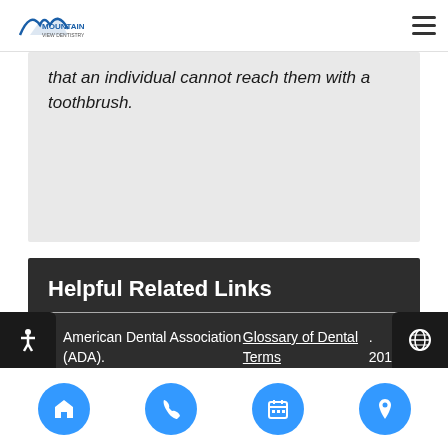Mountain View Dentistry
that an individual cannot reach them with a toothbrush.
Helpful Related Links
American Dental Association (ADA). Glossary of Dental Terms. 2015
American Academy of Cosmetic Dentistry® (AACD). Home Page. 2015